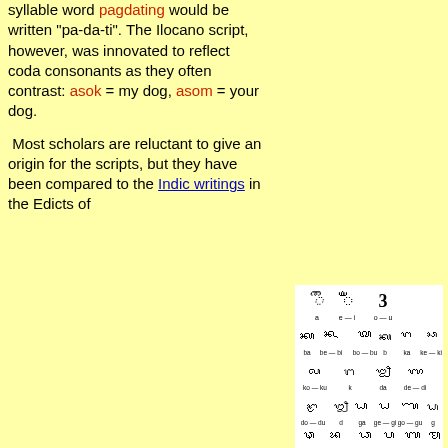syllable word pagdating would be written "pa-da-ti". The Ilocano script, however, was innovated to reflect coda consonants as they often contrast: asok = my dog, asom = your dog.
Most scholars are reluctant to give an origin for the scripts, but they have been compared to the Indic writings in the Edicts of
[Figure (illustration): Ilocano/Baybayin script chart showing characters for vowels and syllables: a, e-i, o-u, ba, be-bi, bo-bu, b, ka, ke-ki, ko-ku, k, da, de-di, do-du, d, ga, ge-gi, go-gu, g, and more characters below]